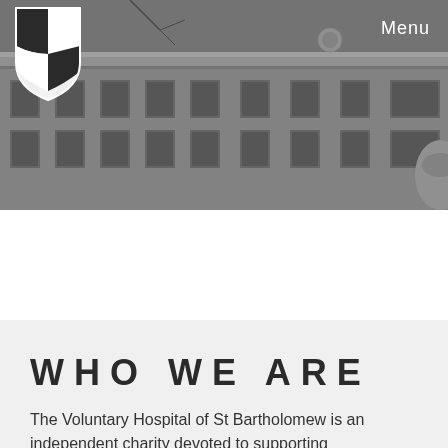[Figure (photo): Black and white photograph of St Bartholomew's Hospital building facade, a classical stone building with multiple windows. A shield logo is overlaid in the top-left corner.]
Menu
WHO WE ARE
The Voluntary Hospital of St Bartholomew is an independent charity devoted to supporting